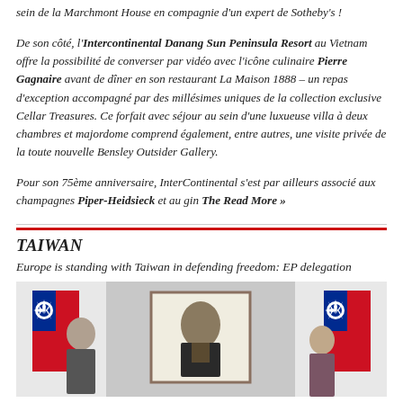sein de la Marchmont House en compagnie d'un expert de Sotheby's !
De son côté, l'Intercontinental Danang Sun Peninsula Resort au Vietnam offre la possibilité de converser par vidéo avec l'icône culinaire Pierre Gagnaire avant de dîner en son restaurant La Maison 1888 – un repas d'exception accompagné par des millésimes uniques de la collection exclusive Cellar Treasures. Ce forfait avec séjour au sein d'une luxueuse villa à deux chambres et majordome comprend également, entre autres, une visite privée de la toute nouvelle Bensley Outsider Gallery.
Pour son 75ème anniversaire, InterContinental s'est par ailleurs associé aux champagnes Piper-Heidsieck et au gin The Read More »
TAIWAN
Europe is standing with Taiwan in defending freedom: EP delegation
[Figure (photo): Photo of two people standing in front of Taiwan flags and a portrait painting, in an official setting]